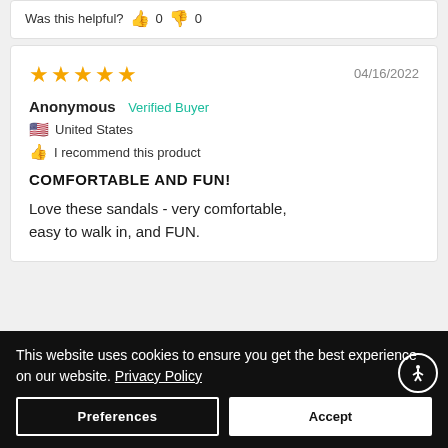Was this helpful? 👍 0 👎 0
★★★★★  04/16/2022
Anonymous  Verified Buyer
🇺🇸 United States
👍 I recommend this product
COMFORTABLE AND FUN!
Love these sandals - very comfortable, easy to walk in, and FUN.
This website uses cookies to ensure you get the best experience on our website. Privacy Policy
Preferences   Accept